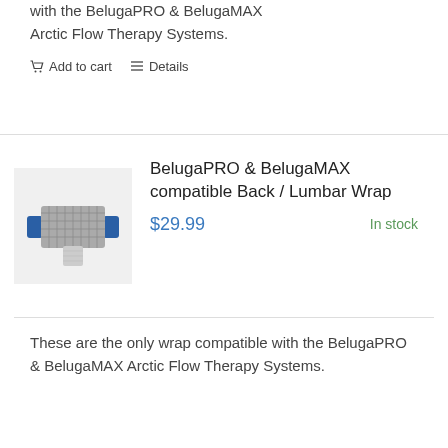with the BelugaPRO & BelugaMAX Arctic Flow Therapy Systems.
Add to cart   Details
[Figure (photo): Product photo of a back/lumbar wrap with blue handles and grey mesh pad]
BelugaPRO & BelugaMAX compatible Back / Lumbar Wrap
$29.99   In stock
These are the only wrap compatible with the BelugaPRO & BelugaMAX Arctic Flow Therapy Systems.